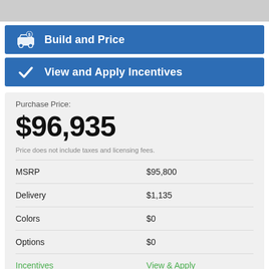Build and Price
View and Apply Incentives
Purchase Price:
$96,935
Price does not include taxes and licensing fees.
|  |  |
| --- | --- |
| MSRP | $95,800 |
| Delivery | $1,135 |
| Colors | $0 |
| Options | $0 |
| Incentives | View & Apply |
| Purchase Price | $96,935 |